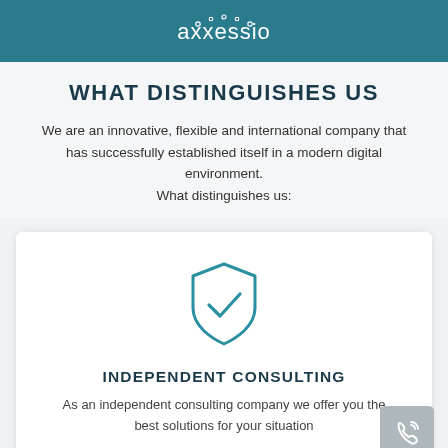axxessio
WHAT DISTINGUISHES US
We are an innovative, flexible and international company that has successfully established itself in a modern digital environment.
What distinguishes us:
[Figure (illustration): Shield icon with checkmark in teal/blue outline style]
INDEPENDENT CONSULTING
As an independent consulting company we offer you the best solutions for your situation